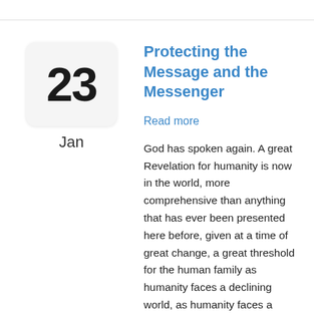[Figure (other): Calendar icon showing the number 23]
Jan
Protecting the Message and the Messenger
Read more
God has spoken again. A great Revelation for humanity is now in the world, more comprehensive than anything that has ever been presented here before, given at a time of great change, a great threshold for the human family as humanity faces a declining world, as humanity faces a universe full of intelligent life—the greatest threshold the human family as a whole has ever encountered and for which it must prepare.